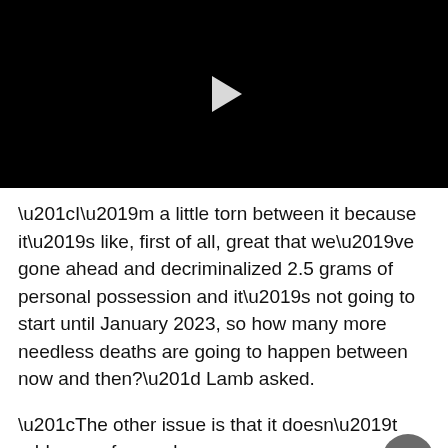[Figure (screenshot): Black video player with white play button triangle in center]
“I’m a little torn between it because it’s like, first of all, great that we’ve gone ahead and decriminalized 2.5 grams of personal possession and it’s not going to start until January 2023, so how many more needless deaths are going to happen between now and then?” Lamb asked.
“The other issue is that it doesn’t address safe supply,